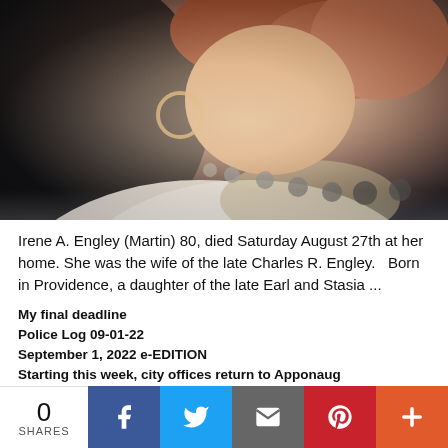[Figure (photo): Close-up portrait photo of an older woman with reddish-brown hair, hoop earrings, a beaded necklace, and a white top, with a dark background.]
Irene A. Engley (Martin) 80, died Saturday August 27th at her home. She was the wife of the late Charles R. Engley.   Born in Providence, a daughter of the late Earl and Stasia ...
My final deadline
Police Log 09-01-22
September 1, 2022 e-EDITION
Starting this week, city offices return to Apponaug
Jean Ann (Hanrahan) Donahue